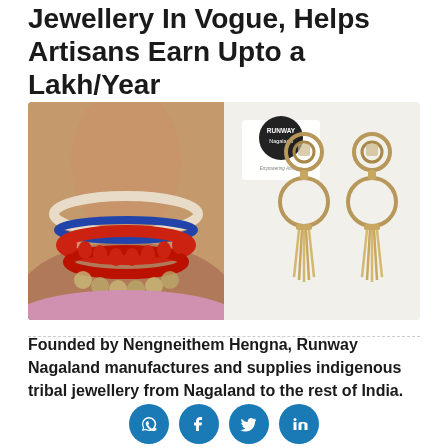Jewellery In Vogue, Helps Artisans Earn Upto a Lakh/Year
By Rinchen Norbu Wangchuk   June 7, 2021
[Figure (photo): Left: person wearing red bead and coin tribal necklace. Right: Runway Nagaland branded woven circular earrings with tassel.]
Founded by Nengneithem Hengna, Runway Nagaland manufactures and supplies indigenous tribal jewellery from Nagaland to the rest of India.
[Figure (other): Social media share icons: WhatsApp, Facebook, Twitter, LinkedIn]